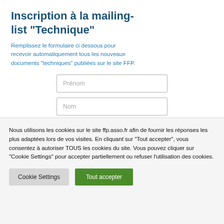Inscription à la mailing-list "Technique"
Remplissez le formulaire ci dessous pour recevoir automatiquement tous les nouveaux documents "techniques" publiées sur le site FFP.
Prénom
Nom
Adresse email
Nous utilisons les cookies sur le site ffp.asso.fr afin de fournir les réponses les plus adaptées lors de vos visites. En cliquant sur "Tout accepter", vous consentez à autoriser TOUS les cookies du site. Vous pouvez cliquer sur "Cookie Settings" pour accepter partiellement ou refuser l'utilisation des cookies.
Cookie Settings
Tout accepter